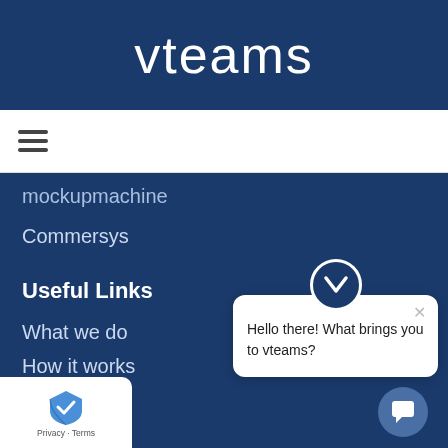vteams
[Figure (screenshot): Hamburger menu icon (three horizontal lines)]
mockupmachine
Commersys
Useful Links
What we do
How it works
Blog
Contact Us
[Figure (screenshot): Chat widget popup with vteams logo and message: Hello there! What brings you to vteams?]
[Figure (screenshot): Chat icon button at bottom right]
[Figure (logo): Google reCAPTCHA Privacy - Terms badge at bottom left]